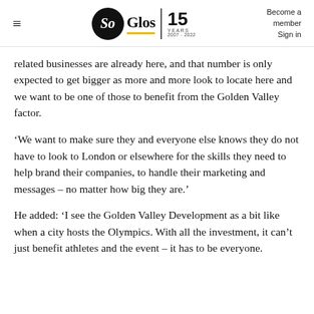SoGlos 15 YEARS 2007-2022 | Become a member Sign in
related businesses are already here, and that number is only expected to get bigger as more and more look to locate here and we want to be one of those to benefit from the Golden Valley factor.
‘We want to make sure they and everyone else knows they do not have to look to London or elsewhere for the skills they need to help brand their companies, to handle their marketing and messages – no matter how big they are.’
He added: ‘I see the Golden Valley Development as a bit like when a city hosts the Olympics. With all the investment, it can’t just benefit athletes and the event – it has to be everyone.